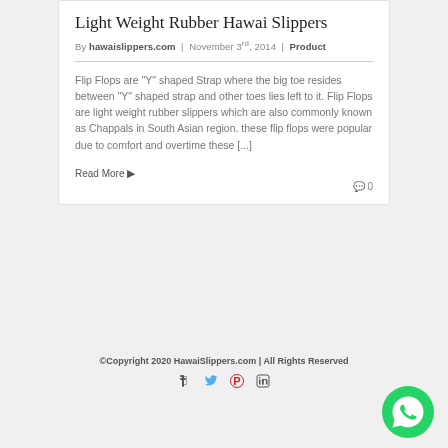Light Weight Rubber Hawai Slippers
By hawaislippers.com | November 3rd, 2014 | Product
Flip Flops are "Y" shaped Strap where the big toe resides between "Y" shaped strap and other toes lies left to it. Flip Flops are light weight rubber slippers which are also commonly known as Chappals in South Asian region. these flip flops were popular due to comfort and overtime these [...]
Read More
0
©Copyright 2020 HawaiSlippers.com | All Rights Reserved